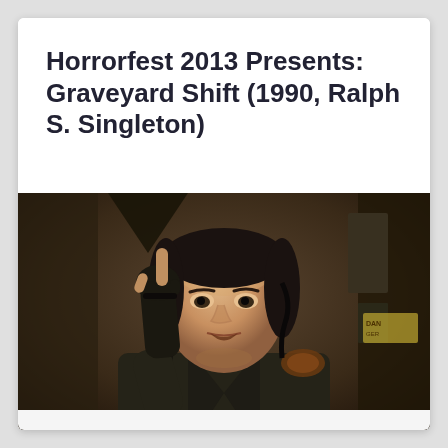Horrorfest 2013 Presents: Graveyard Shift (1990, Ralph S. Singleton)
[Figure (photo): A man with dark curly hair pulled back, wearing dark fingerless gloves and a dark jacket with decorative shoulder detail, raising his hand with index finger pointed up, looking intensely at camera. Indoor industrial/warehouse setting in background. Film still from Graveyard Shift (1990).]